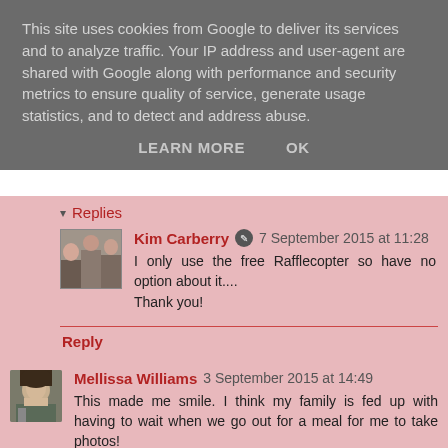This site uses cookies from Google to deliver its services and to analyze traffic. Your IP address and user-agent are shared with Google along with performance and security metrics to ensure quality of service, generate usage statistics, and to detect and address abuse.
LEARN MORE   OK
▾ Replies
Kim Carberry ✎ 7 September 2015 at 11:28
I only use the free Rafflecopter so have no option about it....
Thank you!
Reply
Mellissa Williams 3 September 2015 at 14:49
This made me smile. I think my family is fed up with having to wait when we go out for a meal for me to take photos!